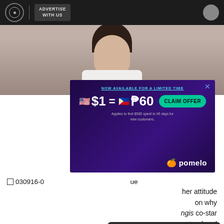ADVERTISE WITH US
[Figure (photo): Partial photo of a woman with dark hair wearing a white top, against a concrete wall background]
[Figure (infographic): Advertisement banner: NOW AVAILABLE FOR A LIMITED TIME. $1 = ₱60. CLAIM OFFER. Applies to first $500 spent in 45 days for new customers. pomelo]
030916-0... [article ID] ...ue ...her attitude ...on why ...ngis co-star ...t tendered ...able ...from the show last March 6, Cristine Reyes finally released her own official statement (through her) (via a press agent) to the media after her
[Figure (screenshot): Cookie consent popup: Welcome, Kapamilya! We use cookies to improve your browsing experience. Continuing to use this site means you agree to our use of cookies. Tell me more! I AGREE!]